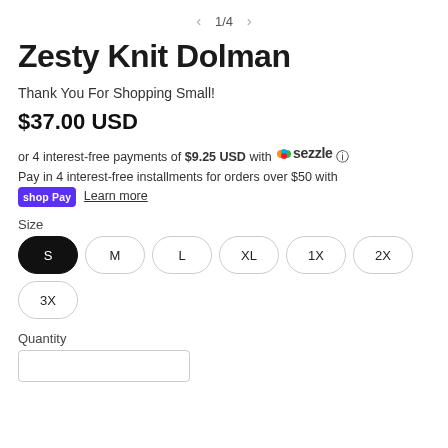1/4
Zesty Knit Dolman
Thank You For Shopping Small!
$37.00 USD
or 4 interest-free payments of $9.25 USD with Sezzle
Pay in 4 interest-free installments for orders over $50 with shop Pay Learn more
Size
S M L XL 1X 2X 3X
Quantity